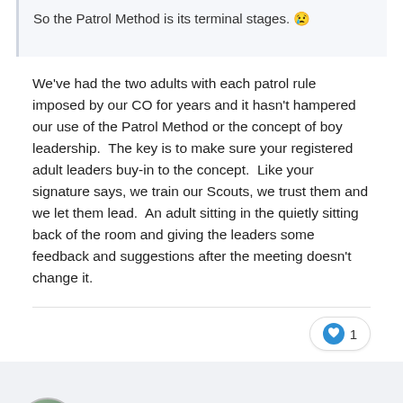So the Patrol Method is its terminal stages. 😢
We've had the two adults with each patrol rule imposed by our CO for years and it hasn't hampered our use of the Patrol Method or the concept of boy leadership.  The key is to make sure your registered adult leaders buy-in to the concept.  Like your signature says, we train our Scouts, we trust them and we let them lead.  An adult sitting in the quietly sitting back of the room and giving the leaders some feedback and suggestions after the meeting doesn't change it.
Eagle94-A1  +2249
Posted June 18, 2018